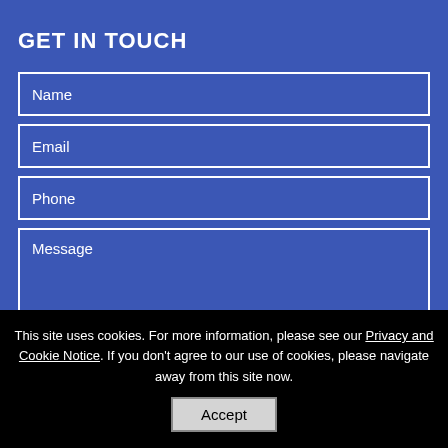GET IN TOUCH
Name
Email
Phone
Message
This site uses cookies. For more information, please see our Privacy and Cookie Notice. If you don't agree to our use of cookies, please navigate away from this site now.
Accept